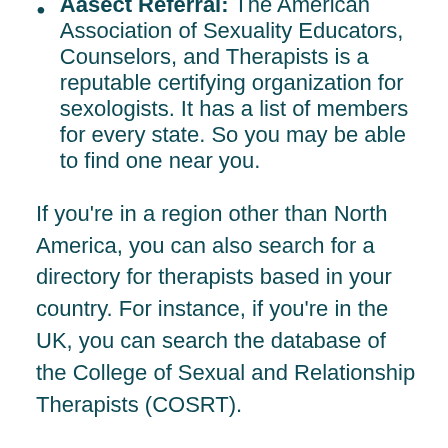Aasect Referral: The American Association of Sexuality Educators, Counselors, and Therapists is a reputable certifying organization for sexologists. It has a list of members for every state. So you may be able to find one near you.
If you're in a region other than North America, you can also search for a directory for therapists based in your country. For instance, if you're in the UK, you can search the database of the College of Sexual and Relationship Therapists (COSRT).